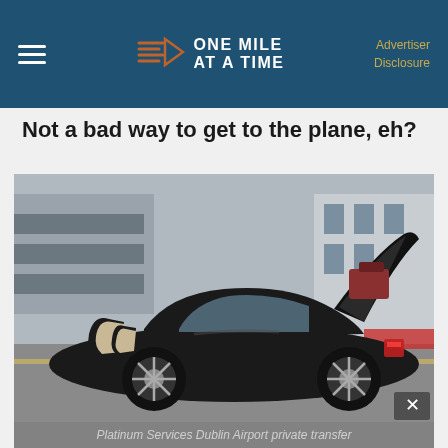ONE MILE AT A TIME | Advertiser Disclosure
Not a bad way to get to the plane, eh?
[Figure (photo): Black luxury sedan (BMW 7 series) with all doors open and trunk open, parked at an airport drop-off area. The car doors are wide open showing tan leather interior. The trunk lid is raised. Airport infrastructure visible in background.]
Platinum Services Dublin Airport private transfer